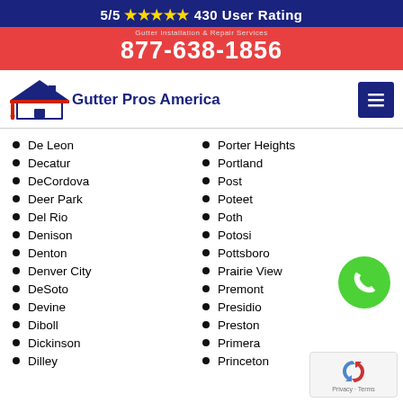5/5 ★★★★★ 430 User Rating
877-638-1856
[Figure (logo): Gutter Pros America logo with house icon]
De Leon
Decatur
DeCordova
Deer Park
Del Rio
Denison
Denton
Denver City
DeSoto
Devine
Diboll
Dickinson
Dilley
Porter Heights
Portland
Post
Poteet
Poth
Potosi
Pottsboro
Prairie View
Premont
Presidio
Preston
Primera
Princeton